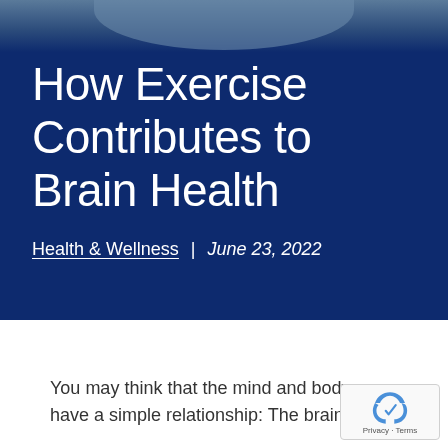[Figure (photo): Dark navy blue hero background with a faint photographic strip at top showing a curved arc, suggesting a person or outdoor scene.]
How Exercise Contributes to Brain Health
Health & Wellness  |  June 23, 2022
You may think that the mind and body have a simple relationship: The brain